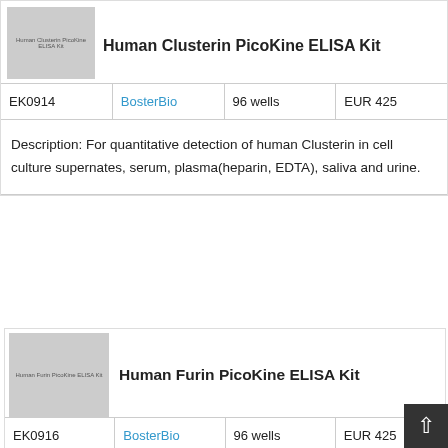[Figure (photo): Product image placeholder for Human Clusterin PicoKine ELISA Kit, gray rectangle with text label]
Human Clusterin PicoKine ELISA Kit
| EK0914 | BosterBio | 96 wells | EUR 425 |
| --- | --- | --- | --- |
Description: For quantitative detection of human Clusterin in cell culture supernates, serum, plasma(heparin, EDTA), saliva and urine.
[Figure (photo): Product image placeholder for Human Furin PicoKine ELISA Kit, gray rectangle with text label]
Human Furin PicoKine ELISA Kit
| EK0916 | BosterBio | 96 wells | EUR 425 |
| --- | --- | --- | --- |